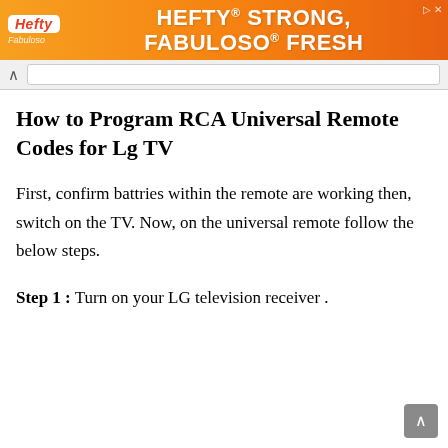[Figure (illustration): Orange advertisement banner for Hefty brand — 'HEFTY STRONG, FABULOSO FRESH' with Hefty and Fabuloso logos on orange background]
How to Program RCA Universal Remote Codes for Lg TV
First, confirm battries within the remote are working then, switch on the TV. Now, on the universal remote follow the below steps.
Step 1 : Turn on your LG television receiver .